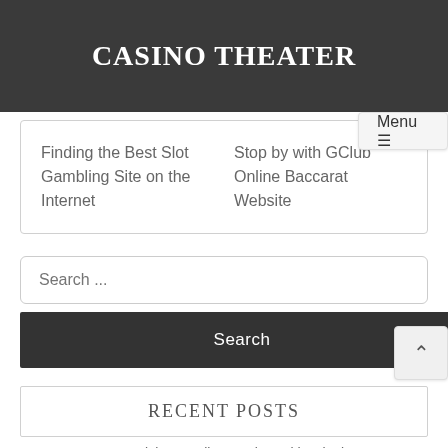CASINO THEATER
Menu ☰
Finding the Best Slot Gambling Site on the Internet
Stop by with GClub Online Baccarat Website
Search ...
Search
RECENT POSTS
How to Pick an Online Casino With Winning